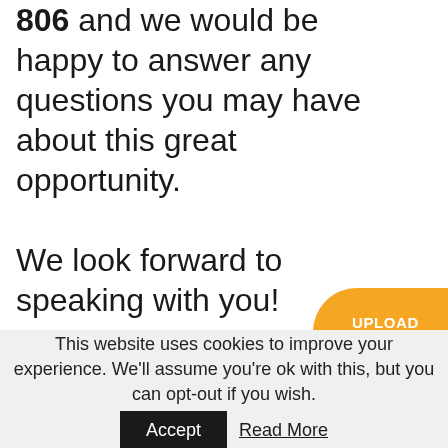806 and we would be happy to answer any questions you may have about this great opportunity.

We look forward to speaking with you!
[Figure (other): Orange rounded button/pill shape partially visible on the right edge with white text reading 'UPLOAD CV']
This website uses cookies to improve your experience. We'll assume you're ok with this, but you can opt-out if you wish.
Accept   Read More